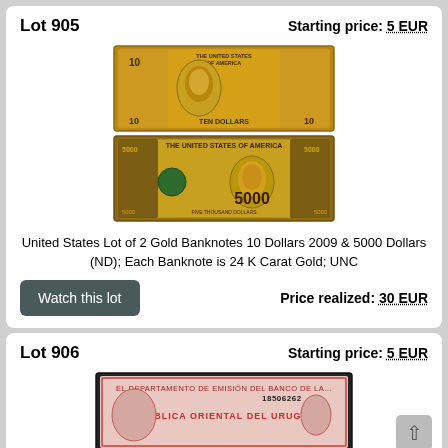Lot 905
Starting price: 5 EUR
[Figure (photo): Two gold banknotes: USA 10 Dollars 2009 (gold foil) and USA 5000 Dollars (gold foil novelty note)]
United States Lot of 2 Gold Banknotes 10 Dollars 2009 & 5000 Dollars (ND); Each Banknote is 24 K Carat Gold; UNC
Watch this lot
Price realized: 30 EUR
Lot 906
Starting price: 5 EUR
[Figure (photo): Uruguay banknote, red/pink, REPUBLICA ORIENTAL DEL URUGUAY, serial number 18506262]